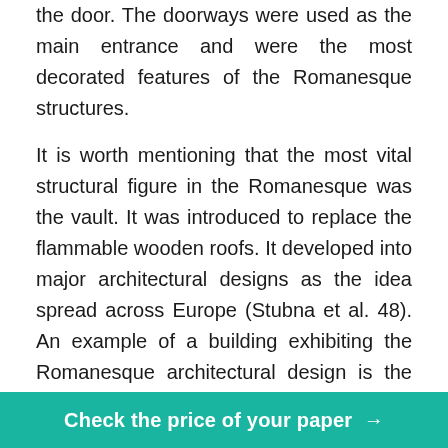the door. The doorways were used as the main entrance and were the most decorated features of the Romanesque structures.
It is worth mentioning that the most vital structural figure in the Romanesque was the vault. It was introduced to replace the flammable wooden roofs. It developed into major architectural designs as the idea spread across Europe (Stubna et al. 48). An example of a building exhibiting the Romanesque architectural design is the Sant'Ambrogoio church (Rudolph 102). The church, developed in the 4th century, highlights the different unique features of a typical Romanesque building. The vaults can be seen and the facade is facing west. There were carvings in the central portals even though the stone was not largely used in the
Check the price of your paper →